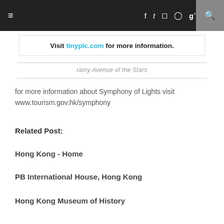≡  f  t  [instagram]  [pinterest]  g+  [search]
[Figure (other): Advertisement banner: Visit tinyplc.com for more information.]
rainy Avenue of the Stars
for more information about Symphony of Lights visit www.tourism.gov.hk/symphony
Related Post:
Hong Kong - Home
PB International House, Hong Kong
Hong Kong Museum of History